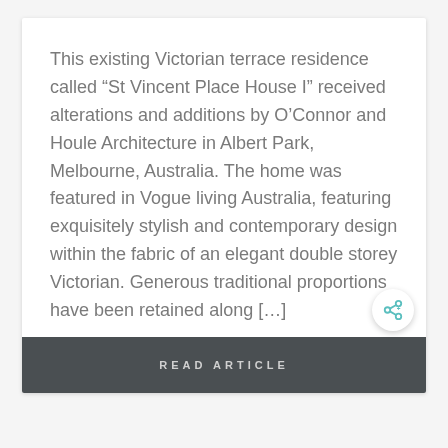This existing Victorian terrace residence called “St Vincent Place House I” received alterations and additions by O’Connor and Houle Architecture in Albert Park, Melbourne, Australia. The home was featured in Vogue living Australia, featuring exquisitely stylish and contemporary design within the fabric of an elegant double storey Victorian. Generous traditional proportions have been retained along […]
READ ARTICLE